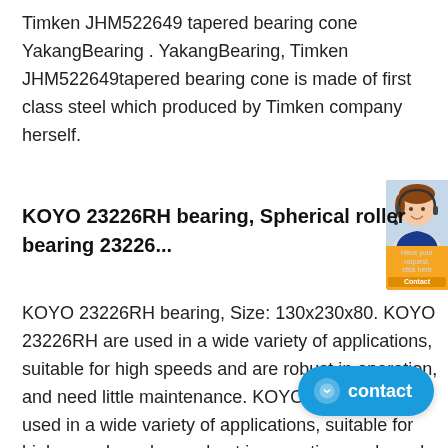Timken JHM522649 tapered bearing cone YakangBearing . YakangBearing, Timken JHM522649tapered bearing cone is made of first class steel which produced by Timken company herself.
[Figure (photo): Customer service representative chat widget showing a woman with headset and an orange button, positioned at top right]
KOYO 23226RH bearing, Spherical roller bearing 23226...
KOYO 23226RH bearing, Size: 130x230x80. KOYO 23226RH are used in a wide variety of applications, suitable for high speeds and are robust in operation, and need little maintenance. KOYO 23226RH are used in a wide variety of applications, suitable for high speeds and are robust in operation, and need little maintenance.
[Figure (other): Blue contact chat button with smiley face icon and text 'contact', positioned at bottom right]